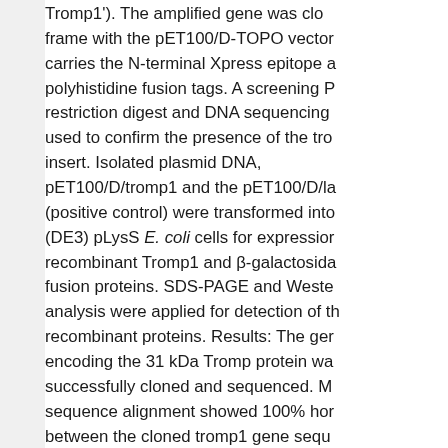Tromp1'). The amplified gene was cloned in frame with the pET100/D-TOPO vector which carries the N-terminal Xpress epitope and polyhistidine fusion tags. A screening PCR, restriction digest and DNA sequencing were used to confirm the presence of the tromp1 insert. Isolated plasmid DNA, pET100/D/tromp1 and the pET100/D/lacZ (positive control) were transformed into BL21 (DE3) pLysS E. coli cells for expression of recombinant Tromp1 and β-galactosidase fusion proteins. SDS-PAGE and Western blot analysis were applied for detection of the recombinant proteins. Results: The gene encoding the 31 kDa Tromp protein was successfully cloned and sequenced. Multiple sequence alignment showed 100% homology between the cloned tromp1 gene sequence and its reference sequence. In addition, screening PCR for transformation products and restriction digest of isolated plasmids confirmed the presence of the tromp1 insert. Following gene expression, SDS-PAGE